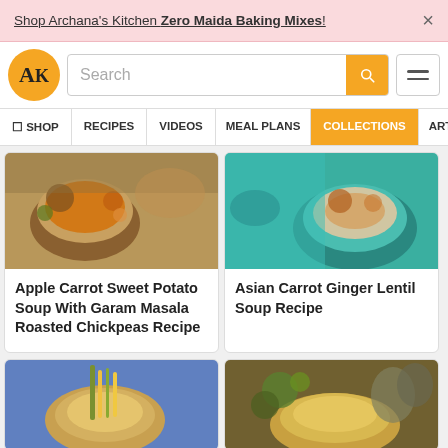Shop Archana's Kitchen Zero Maida Baking Mixes! ×
[Figure (screenshot): Archana's Kitchen logo - golden circle with AK letters]
Search
SHOP
RECIPES
VIDEOS
MEAL PLANS
COLLECTIONS
ART
[Figure (photo): Apple Carrot Sweet Potato Soup with roasted chickpeas in a bowl]
Apple Carrot Sweet Potato Soup With Garam Masala Roasted Chickpeas Recipe
[Figure (photo): Asian Carrot Ginger Lentil Soup in a teal plate]
Asian Carrot Ginger Lentil Soup Recipe
[Figure (photo): Soup with lemongrass garnish in a white bowl]
[Figure (photo): Creamy soup with mint and vegetables]